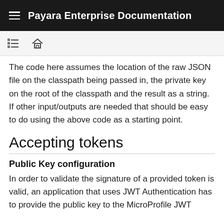Payara Enterprise Documentation
The code here assumes the location of the raw JSON file on the classpath being passed in, the private key on the root of the classpath and the result as a string. If other input/outputs are needed that should be easy to do using the above code as a starting point.
Accepting tokens
Public Key configuration
In order to validate the signature of a provided token is valid, an application that uses JWT Authentication has to provide the public key to the MicroProfile JWT